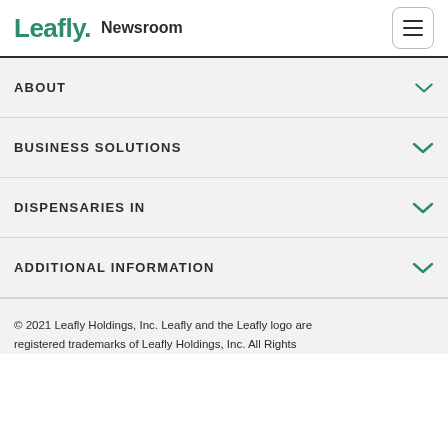Leafly. Newsroom
ABOUT
BUSINESS SOLUTIONS
DISPENSARIES IN
ADDITIONAL INFORMATION
© 2021 Leafly Holdings, Inc. Leafly and the Leafly logo are registered trademarks of Leafly Holdings, Inc. All Rights